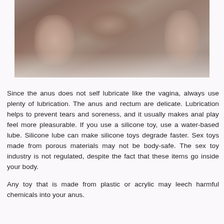[Figure (photo): A person lying on white bedding, viewed from above, with brown hair visible, in a soft intimate setting.]
Since the anus does not self lubricate like the vagina, always use plenty of lubrication. The anus and rectum are delicate. Lubrication helps to prevent tears and soreness, and it usually makes anal play feel more pleasurable. If you use a silicone toy, use a water-based lube. Silicone lube can make silicone toys degrade faster. Sex toys made from porous materials may not be body-safe. The sex toy industry is not regulated, despite the fact that these items go inside your body.
Any toy that is made from plastic or acrylic may leech harmful chemicals into your anus.